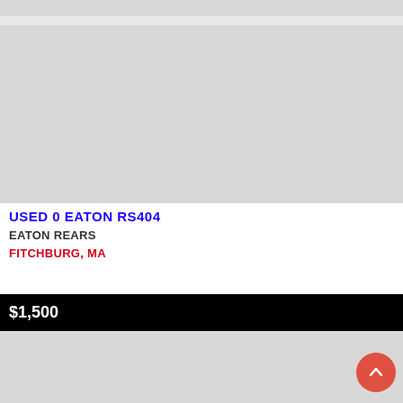[Figure (photo): Gray placeholder image area at top of listing]
USED 0 EATON RS404
EATON REARS
FITCHBURG, MA
$1,500
[Figure (photo): Gray placeholder image area at bottom of listing]